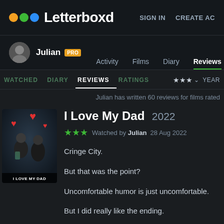Letterboxd  SIGN IN  CREATE AC
Julian PRO  Activity  Films  Diary  Reviews
WATCHED  DIARY  REVIEWS  RATINGS  ★★★ ∨  YEAR
Julian has written 60 reviews for films rated
I Love My Dad  2022
★★★  Watched by Julian  28 Aug 2022
Cringe City.
But that was the point?
Uncomfortable humor is just uncomfortable.
But I did really like the ending.